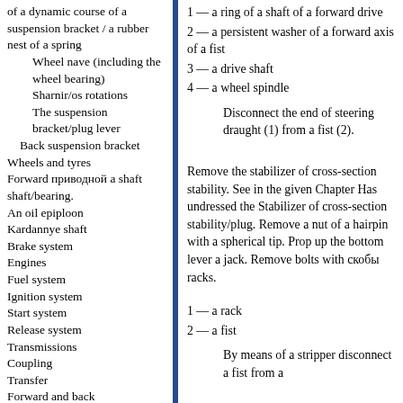of a dynamic course of a suspension bracket / a rubber nest of a spring
Wheel nave (including the wheel bearing)
Sharnir/os rotations
The suspension bracket/plug lever
Back suspension bracket
Wheels and tyres
Forward приводной a shaft shaft/bearing.
An oil epiploon
Kardannye shaft
Brake system
Engines
Fuel system
Ignition system
Start system
Release system
Transmissions
Coupling
Transfer
Forward and back
1 — a ring of a shaft of a forward drive
2 — a persistent washer of a forward axis of a fist
3 — a drive shaft
4 — a wheel spindle
Disconnect the end of steering draught (1) from a fist (2).
Remove the stabilizer of cross-section stability. See in the given Chapter Has undressed the Stabilizer of cross-section stability/plug. Remove a nut of a hairpin with a spherical tip. Prop up the bottom lever a jack. Remove bolts with скобы racks.
1 — a rack
2 — a fist
By means of a stripper disconnect a fist from a bearing with a spherical tip.